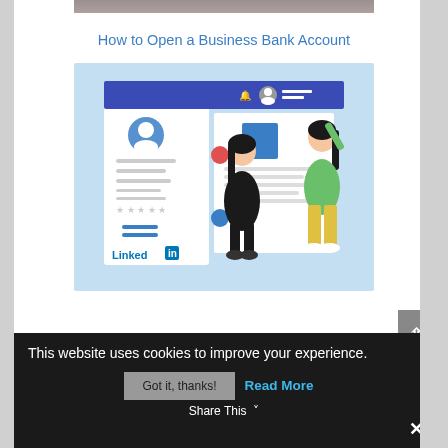[Figure (photo): Top portion of a photo partially visible at the very top of the page]
How to Open a Business Bank Account
[Figure (illustration): LinkedIn profile page illustration showing two cartoon women interacting with a large LinkedIn interface/UI mockup on a light blue background]
This website uses cookies to improve your experience.
Got it, thanks!  Read More
Share This